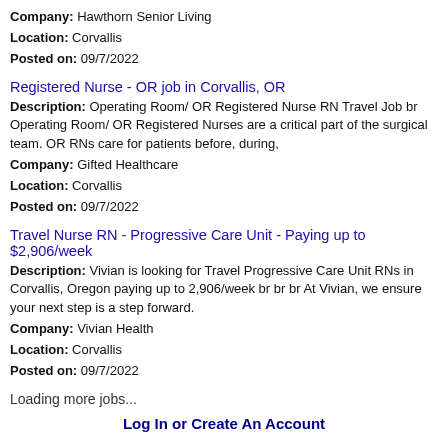Company: Hawthorn Senior Living
Location: Corvallis
Posted on: 09/7/2022
Registered Nurse - OR job in Corvallis, OR
Description: Operating Room/ OR Registered Nurse RN Travel Job br Operating Room/ OR Registered Nurses are a critical part of the surgical team. OR RNs care for patients before, during,
Company: Gifted Healthcare
Location: Corvallis
Posted on: 09/7/2022
Travel Nurse RN - Progressive Care Unit - Paying up to $2,906/week
Description: Vivian is looking for Travel Progressive Care Unit RNs in Corvallis, Oregon paying up to 2,906/week br br br At Vivian, we ensure your next step is a step forward.
Company: Vivian Health
Location: Corvallis
Posted on: 09/7/2022
Loading more jobs...
Log In or Create An Account